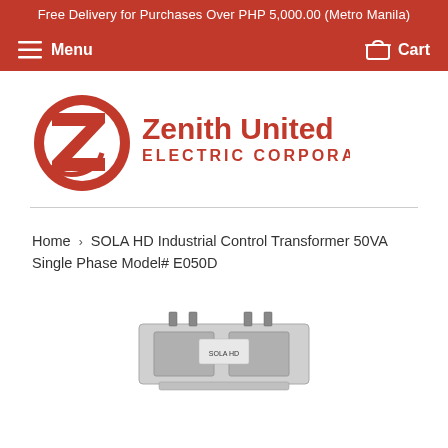Free Delivery for Purchases Over PHP 5,000.00 (Metro Manila)
Menu   Cart
[Figure (logo): Zenith United Electric Corporation logo — red circular Z emblem with the text 'Zenith United' in bold red and 'ELECTRIC CORPORATION' below]
Home › SOLA HD Industrial Control Transformer 50VA Single Phase Model# E050D
[Figure (photo): Product photo of SOLA HD Industrial Control Transformer 50VA Single Phase Model# E050D — a rectangular metallic transformer unit shown from a slight angle]